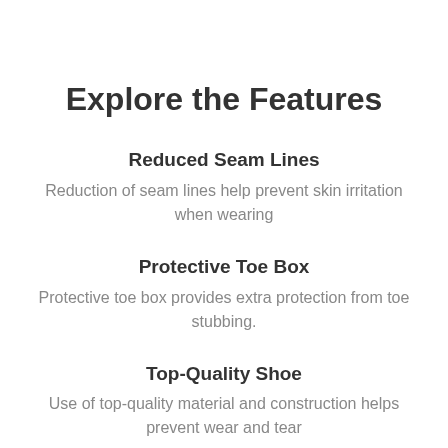Explore the Features
Reduced Seam Lines
Reduction of seam lines help prevent skin irritation when wearing
Protective Toe Box
Protective toe box provides extra protection from toe stubbing.
Top-Quality Shoe
Use of top-quality material and construction helps prevent wear and tear